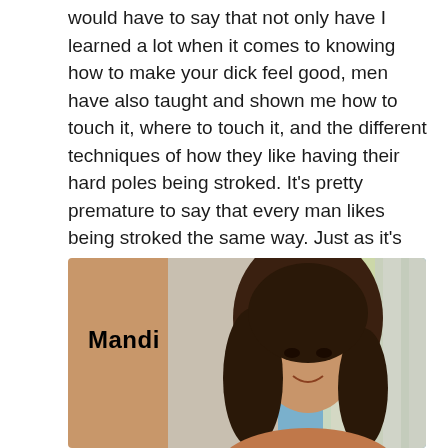would have to say that not only have I learned a lot when it comes to knowing how to make your dick feel good, men have also taught and shown me how to touch it, where to touch it, and the different techniques of how they like having their hard poles being stroked. It's pretty premature to say that every man likes being stroked the same way. Just as it's premature to say that girls like having our pussies being touched the same kind of way. Nothing could be further from the truth.
[Figure (photo): Photo of a young woman with long dark brown hair, smiling, with a colorful striped background. A name label 'Mandi' appears in bold black text on the left side of the image.]